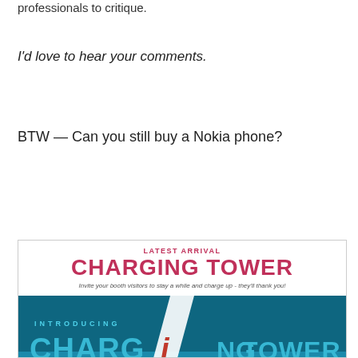professionals to critique.
I'd love to hear your comments.
BTW — Can you still buy a Nokia phone?
[Figure (infographic): Advertisement for a Charging Tower product. Header reads 'LATEST ARRIVAL' in pink uppercase letters, then 'CHARGING TOWER' in large bold pink text. Subtitle: 'Invite your booth visitors to stay a while and charge up - they'll thank you!' Below is an image showing charging tower units at a trade show with text 'INTRODUCING CHARGING TOWER' and 'Looking for a place to charge your electrical devices and get some work done?' Various brand logos visible including Chef Dog, best taste, Maxdino.]